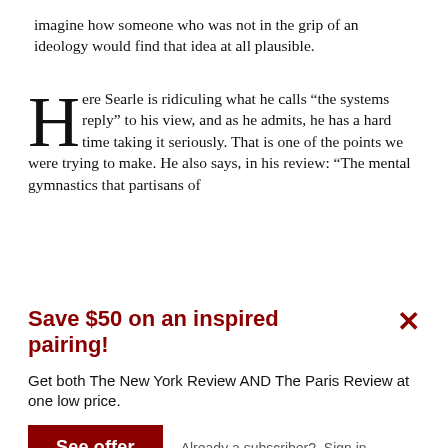imagine how someone who was not in the grip of an ideology would find that idea at all plausible.
Here Searle is ridiculing what he calls “the systems reply” to his view, and as he admits, he has a hard time taking it seriously. That is one of the points we were trying to make. He also says, in his review: “The mental gymnastics that partisans of
Save $50 on an inspired pairing!
Get both The New York Review AND The Paris Review at one low price.
See offer
Already a subscriber?  Sign in